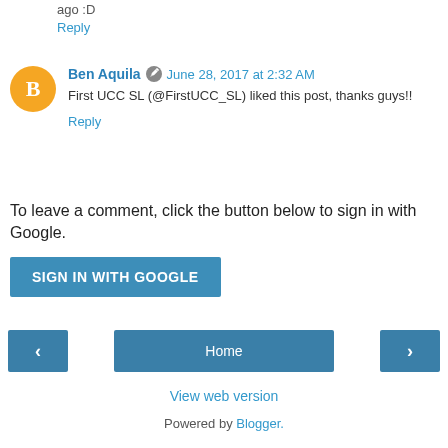ago :D
Reply
Ben Aquila  June 28, 2017 at 2:32 AM
First UCC SL (@FirstUCC_SL) liked this post, thanks guys!!
Reply
To leave a comment, click the button below to sign in with Google.
SIGN IN WITH GOOGLE
Home
View web version
Powered by Blogger.